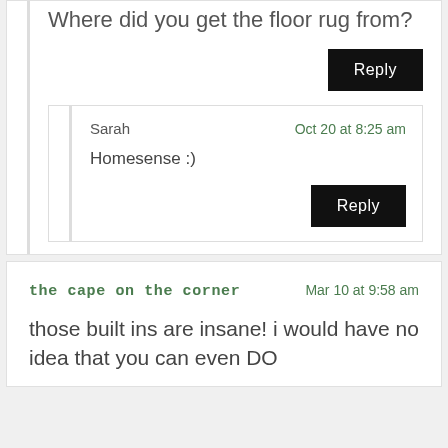Where did you get the floor rug from?
Reply
Sarah
Oct 20 at 8:25 am
Homesense :)
Reply
the cape on the corner
Mar 10 at 9:58 am
those built ins are insane! i would have no idea that you can even DO